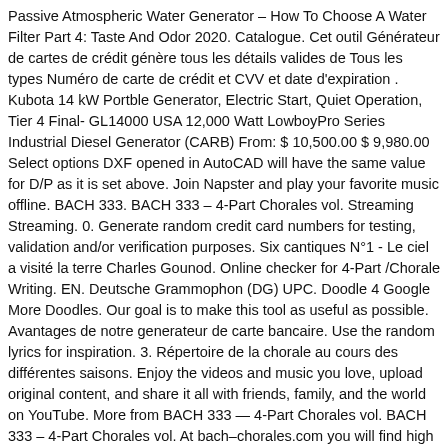Passive Atmospheric Water Generator – How To Choose A Water Filter Part 4: Taste And Odor 2020. Catalogue. Cet outil Générateur de cartes de crédit génère tous les détails valides de Tous les types Numéro de carte de crédit et CVV et date d'expiration . Kubota 14 kW Portble Generator, Electric Start, Quiet Operation, Tier 4 Final- GL14000 USA 12,000 Watt LowboyPro Series Industrial Diesel Generator (CARB) From: $ 10,500.00 $ 9,980.00 Select options DXF opened in AutoCAD will have the same value for D/P as it is set above. Join Napster and play your favorite music offline. BACH 333. BACH 333 – 4-Part Chorales vol. Streaming Streaming. 0. Generate random credit card numbers for testing, validation and/or verification purposes. Six cantiques N°1 - Le ciel a visité la terre Charles Gounod. Online checker for 4-Part /Chorale Writing. EN. Deutsche Grammophon (DG) UPC. Doodle 4 Google More Doodles. Our goal is to make this tool as useful as possible. Avantages de notre generateur de carte bancaire. Use the random lyrics for inspiration. 3. Répertoire de la chorale au cours des différentes saisons. Enjoy the videos and music you love, upload original content, and share it all with friends, family, and the world on YouTube. More from BACH 333 — 4-Part Chorales vol. BACH 333 – 4-Part Chorales vol. At bach–chorales.com you will find high quality renderings of each Bach chorale, accompanied with thorough contextual information that incorporates the most up–to–date research. Label. Seigneur, en ta demeure pour 4 voix SATB. 0. Generate Cool Names at the